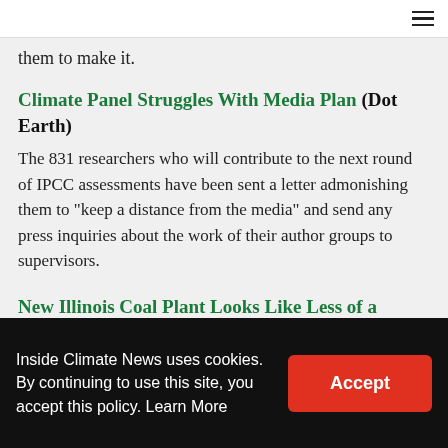≡
them to make it.
Climate Panel Struggles With Media Plan (Dot Earth)
The 831 researchers who will contribute to the next round of IPCC assessments have been sent a letter admonishing them to "keep a distance from the media" and send any press inquiries about the work of their author groups to supervisors.
New Illinois Coal Plant Looks Like Less of a Bargain (Chicago Tribune)
The price tag of a new Illinois coal plant already has
Inside Climate News uses cookies. By continuing to use this site, you accept this policy. Learn More